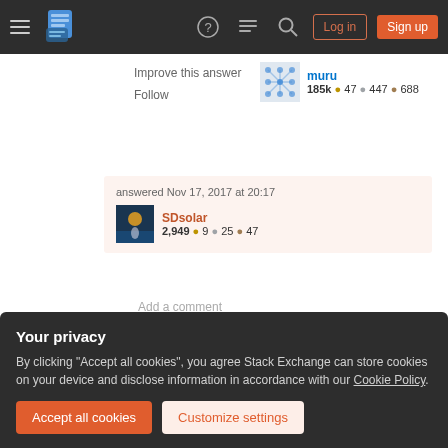Stack Exchange navigation bar with hamburger menu, logo, help, chat, search icons, Log in and Sign up buttons
Improve this answer
Follow
muru 185k ● 47 ● 447 ● 688
answered Nov 17, 2017 at 20:17
SDsolar 2,949 ● 9 ● 25 ● 47
Add a comment
crontab -e defaults to using vi for editing.
Your privacy
By clicking "Accept all cookies", you agree Stack Exchange can store cookies on your device and disclose information in accordance with our Cookie Policy.
Accept all cookies
Customize settings
After you exit from the editor, the modified